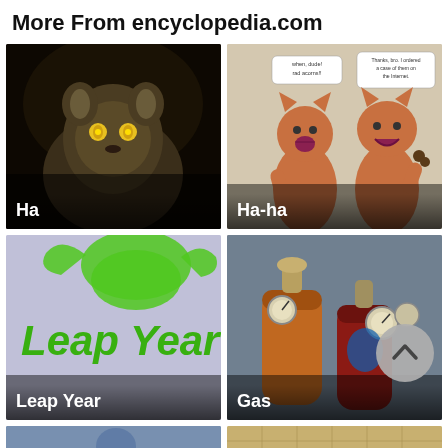More From encyclopedia.com
[Figure (photo): Dark photo of a lemur with glowing yellow eyes, labeled 'Ha']
[Figure (illustration): Cartoon of two cat-like characters with speech bubbles, labeled 'Ha-ha']
[Figure (illustration): Light purple background with green frog and 'Leap Year' text, labeled 'Leap Year']
[Figure (photo): Photo of gas cylinders with pressure gauges, labeled 'Gas']
[Figure (photo): Partial photo at bottom-left, blurred outdoor scene]
[Figure (photo): Partial photo at bottom-right, yellowish textured pattern]